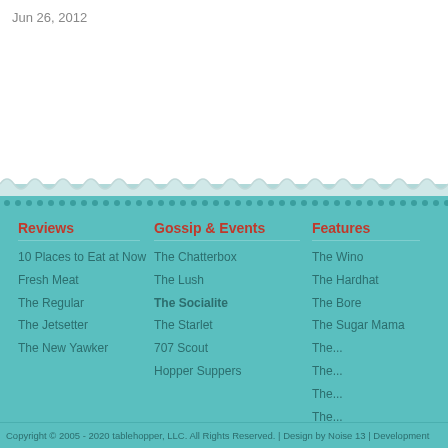Jun 26, 2012
Reviews
10 Places to Eat at Now
Fresh Meat
The Regular
The Jetsetter
The New Yawker
Gossip & Events
The Chatterbox
The Lush
The Socialite
The Starlet
707 Scout
Hopper Suppers
Features
The Wino
The Hardhat
The Bore
The Sugar Mama
Copyright © 2005 - 2020 tablehopper, LLC. All Rights Reserved. | Design by Noise 13 | Development